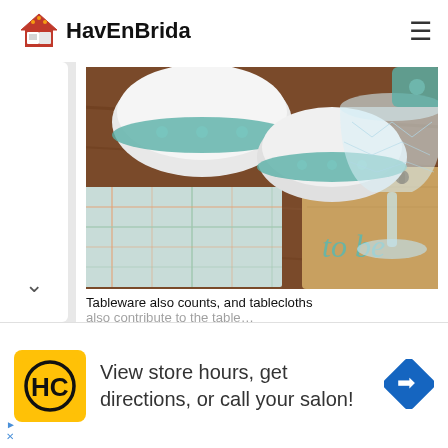HavEnBrida
[Figure (photo): Close-up photo of tableware including teal-patterned ceramic bowls, a crystal wine glass, a plaid tablecloth/napkin, and a wooden cutting board with teal text on a dark wood table surface.]
Tableware also counts, and tablecloths
[Figure (logo): HC logo in black on yellow square background, advertisement for a salon with text: View store hours, get directions, or call your salon!]